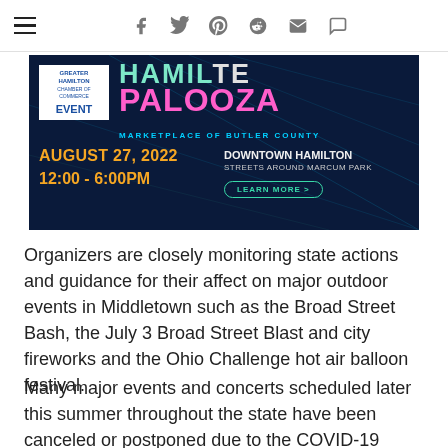Navigation and social sharing icons (hamburger menu, facebook, twitter, pinterest, reddit, mail, comment)
[Figure (infographic): Advertisement banner for Hamiltpalooza event. Greater Hamilton Chamber of Commerce EVENT badge. Title: HAMILPALOOZA - MARKETPLACE OF BUTLER COUNTY. Date: AUGUST 27, 2022. Time: 12:00 - 6:00PM. Location: DOWNTOWN HAMILTON, STREETS AROUND MARCUM PARK. LEARN MORE button.]
Organizers are closely monitoring state actions and guidance for their affect on major outdoor events in Middletown such as the Broad Street Bash, the July 3 Broad Street Blast and city fireworks and the Ohio Challenge hot air balloon festival.
Many major events and concerts scheduled later this summer throughout the state have been canceled or postponed due to the COVID-19 pandemic. Ohio's stay-at-home order prohibits